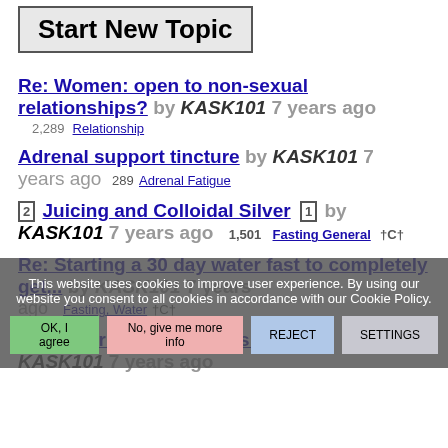Start New Topic
Re: Women: open to non-sexual relationships? by KASK101 7 years ago 2,289 Relationship
Adrenal support tincture by KASK101 7 years ago 289 Adrenal Fatigue
Juicing and Colloidal Silver by KASK101 7 years ago 1,501 Fasting General †C†
Re: Starting a 30 day water fast to completely get... by KASK101 7 years ago Fasting, Water †C†
Re: Water Fasting Excess Bile by KASK101 7 years ago
This website uses cookies to improve user experience. By using our website you consent to all cookies in accordance with our Cookie Policy.